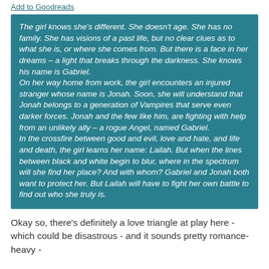Add to Goodreads
The girl knows she's different. She doesn't age. She has no family. She has visions of a past life, but no clear clues as to what she is, or where she comes from. But there is a face in her dreams – a light that breaks through the darkness. She knows his name is Gabriel.
On her way home from work, the girl encounters an injured stranger whose name is Jonah. Soon, she will understand that Jonah belongs to a generation of Vampires that serve even darker forces. Jonah and the few like him, are fighting with help from an unlikely ally – a rogue Angel, named Gabriel.
In the crossfire between good and evil, love and hate, and life and death, the girl learns her name: Lailah. But when the lines between black and white begin to blur, where in the spectrum will she find her place? And with whom? Gabriel and Jonah both want to protect her. But Lailah will have to fight her own battle to find out who she truly is.
Okay so, there's definitely a love triangle at play here - which could be disastrous - and it sounds pretty romance-heavy -